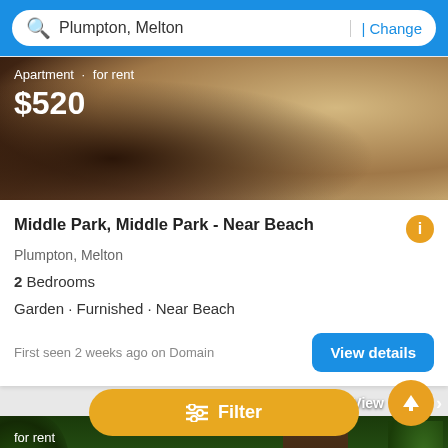Plumpton, Melton | Change
[Figure (photo): Interior photo of an apartment for rent, warm brown tones]
Apartment · for rent
$520
Middle Park, Middle Park - Near Beach
Plumpton, Melton
2 Bedrooms
Garden · Furnished · Near Beach
First seen 2 weeks ago on Domain
View details
[Figure (photo): Garden with tropical plants, wooden fence, and a pool - listing photo for rent]
for rent
View photos
Filter